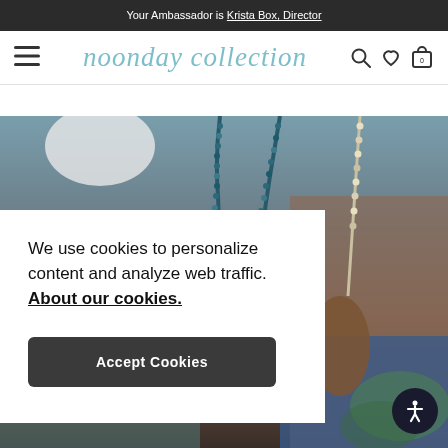Your Ambassador is Krista Box, Director
[Figure (logo): Noonday Collection logo with hamburger menu icon and cart/search/wishlist icons]
[Figure (photo): Background photo of beaded necklaces/jewelry being held, with a person in blue clothing visible]
We use cookies to personalize content and analyze web traffic. About our cookies.
Accept Cookies